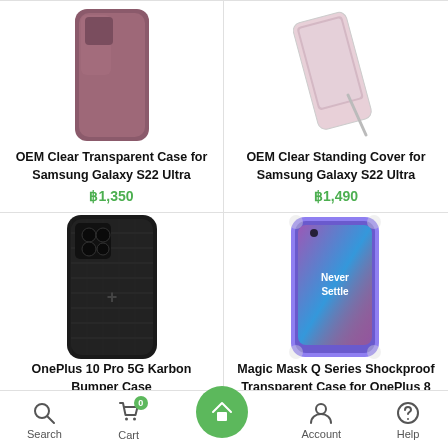[Figure (photo): OEM Clear Transparent Case for Samsung Galaxy S22 Ultra - dark pink/mauve colored phone case, back view]
OEM Clear Transparent Case for Samsung Galaxy S22 Ultra
฿1,350
[Figure (photo): OEM Clear Standing Cover for Samsung Galaxy S22 Ultra - transparent case with kickstand, phone propped at angle]
OEM Clear Standing Cover for Samsung Galaxy S22 Ultra
฿1,490
[Figure (photo): OnePlus 10 Pro 5G Karbon Bumper Case - black carbon fiber textured back case]
OnePlus 10 Pro 5G Karbon Bumper Case
[Figure (photo): Magic Mask Q Series Shockproof Transparent Case for OnePlus 8 - clear case on blue/purple OnePlus 8 phone showing Never Settle text]
Magic Mask Q Series Shockproof Transparent Case for OnePlus 8
Search  Cart  Home  Account  Help